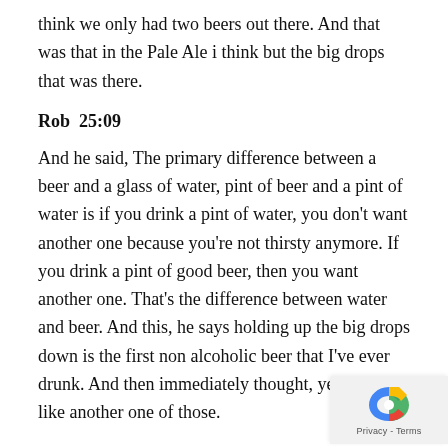think we only had two beers out there. And that was that in the Pale Ale i think but the big drops that was there.
Rob  25:09
And he said, The primary difference between a beer and a glass of water, pint of beer and a pint of water is if you drink a pint of water, you don't want another one because you're not thirsty anymore. If you drink a pint of good beer, then you want another one. That's the difference between water and beer. And this, he says holding up the big drops down is the first non alcoholic beer that I've ever drunk. And then immediately thought, yes, I would like another one of those.